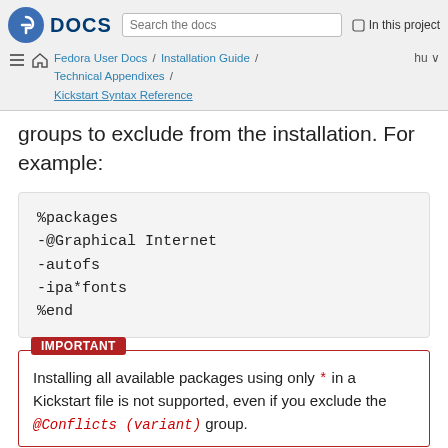Fedora DOCS | Search the docs | In this project | Fedora User Docs / Installation Guide / Technical Appendixes / Kickstart Syntax Reference | hu
groups to exclude from the installation. For example:
%packages
-@Graphical Internet
-autofs
-ipa*fonts
%end
Installing all available packages using only * in a Kickstart file is not supported, even if you exclude the @Conflicts (variant) group.